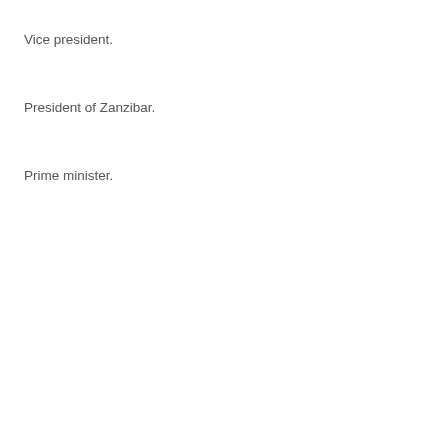Vice president.
President of Zanzibar.
Prime minister.